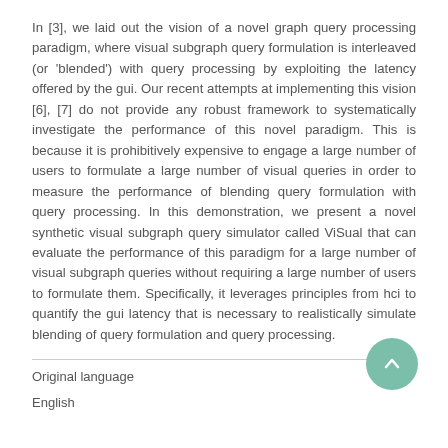In [3], we laid out the vision of a novel graph query processing paradigm, where visual subgraph query formulation is interleaved (or 'blended') with query processing by exploiting the latency offered by the gui. Our recent attempts at implementing this vision [6], [7] do not provide any robust framework to systematically investigate the performance of this novel paradigm. This is because it is prohibitively expensive to engage a large number of users to formulate a large number of visual queries in order to measure the performance of blending query formulation with query processing. In this demonstration, we present a novel synthetic visual subgraph query simulator called ViSual that can evaluate the performance of this paradigm for a large number of visual subgraph queries without requiring a large number of users to formulate them. Specifically, it leverages principles from hci to quantify the gui latency that is necessary to realistically simulate blending of query formulation and query processing.
Original language
English